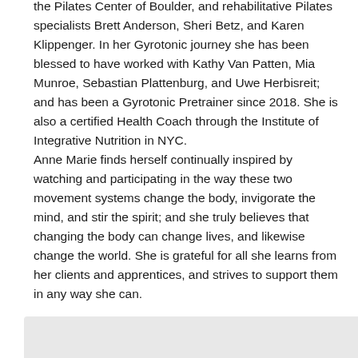the Pilates Center of Boulder, and rehabilitative Pilates specialists Brett Anderson, Sheri Betz, and Karen Klippenger. In her Gyrotonic journey she has been blessed to have worked with Kathy Van Patten, Mia Munroe, Sebastian Plattenburg, and Uwe Herbisreit; and has been a Gyrotonic Pretrainer since 2018. She is also a certified Health Coach through the Institute of Integrative Nutrition in NYC.
Anne Marie finds herself continually inspired by watching and participating in the way these two movement systems change the body, invigorate the mind, and stir the spirit; and she truly believes that changing the body can change lives, and likewise change the world. She is grateful for all she learns from her clients and apprentices, and strives to support them in any way she can.